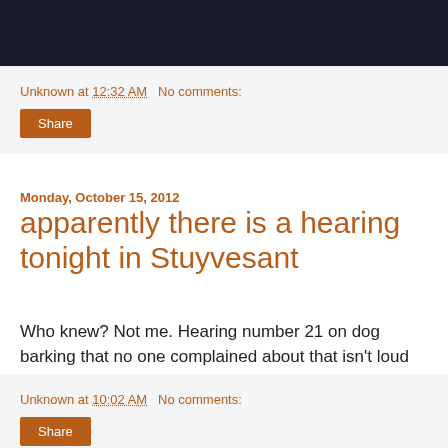Unknown at 12:32 AM   No comments:
Share
Monday, October 15, 2012
apparently there is a hearing tonight in Stuyvesant
Who knew? Not me. Hearing number 21 on dog barking that no one complained about that isn't loud tonight...
Unknown at 10:02 AM   No comments:
Share